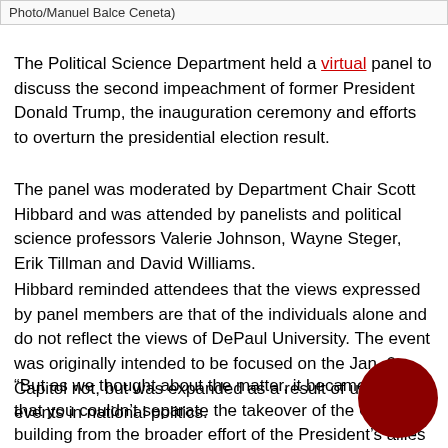Photo/Manuel Balce Ceneta)
The Political Science Department held a virtual panel to discuss the second impeachment of former President Donald Trump, the inauguration ceremony and efforts to overturn the presidential election result.
The panel was moderated by Department Chair Scott Hibbard and was attended by panelists and political science professors Valerie Johnson, Wayne Steger, Erik Tillman and David Williams.
Hibbard reminded attendees that the views expressed by panel members are that of the individuals alone and do not reflect the views of DePaul University. The event was originally intended to be focused on the Jan. 6 Capitol riot, but was expanded as a result of unfolding events in national politics.
“But as we thought about the matter, it became clear that you couldn’t separate the takeover of the Capitol building from the broader effort of the President’s allies to create a false narrative around the election, and ultimately try to overturn the results of